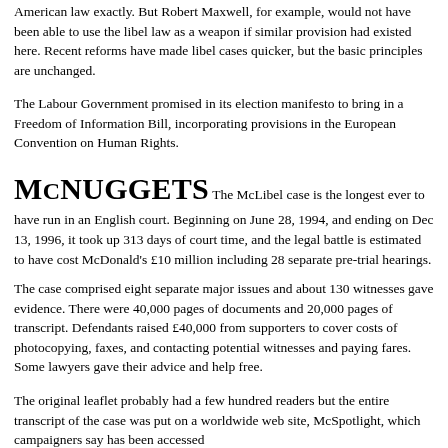American law exactly. But Robert Maxwell, for example, would not have been able to use the libel law as a weapon if similar provision had existed here. Recent reforms have made libel cases quicker, but the basic principles are unchanged.
The Labour Government promised in its election manifesto to bring in a Freedom of Information Bill, incorporating provisions in the European Convention on Human Rights.
McNUGGETS
The McLibel case is the longest ever to have run in an English court. Beginning on June 28, 1994, and ending on Dec 13, 1996, it took up 313 days of court time, and the legal battle is estimated to have cost McDonald's £10 million including 28 separate pre-trial hearings.
The case comprised eight separate major issues and about 130 witnesses gave evidence. There were 40,000 pages of documents and 20,000 pages of transcript. Defendants raised £40,000 from supporters to cover costs of photocopying, faxes, and contacting potential witnesses and paying fares. Some lawyers gave their advice and help free.
The original leaflet probably had a few hundred readers but the entire transcript of the case was put on a worldwide web site, McSpotlight, which campaigners say has been accessed